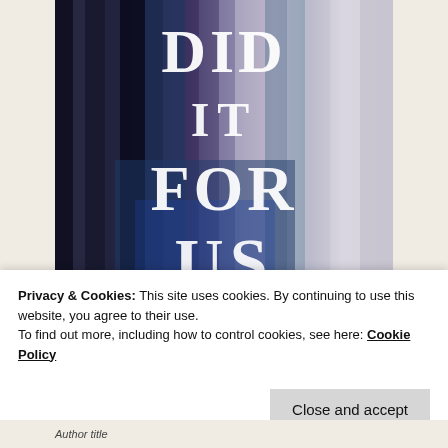[Figure (illustration): Book cover with dark atmospheric background of blurred vertical streaks in blue, gray, and purple tones, with large white serif text reading 'DID IT FOR US']
Privacy & Cookies: This site uses cookies. By continuing to use this website, you agree to their use.
To find out more, including how to control cookies, see here: Cookie Policy
Close and accept